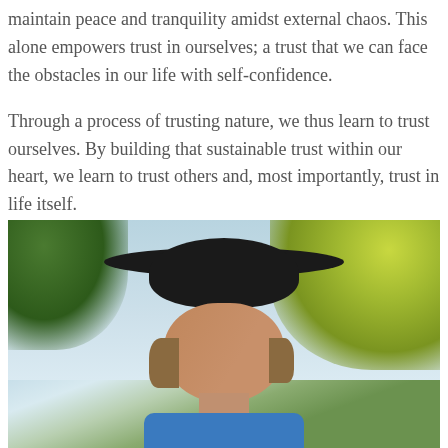maintain peace and tranquility amidst external chaos. This alone empowers trust in ourselves; a trust that we can face the obstacles in our life with self-confidence.

Through a process of trusting nature, we thus learn to trust ourselves. By building that sustainable trust within our heart, we learn to trust others and, most importantly, trust in life itself.
[Figure (photo): A middle-aged man wearing a dark cowboy hat, photographed outdoors with green and yellow-green foliage in the background and a blue sky, looking slightly to the side.]